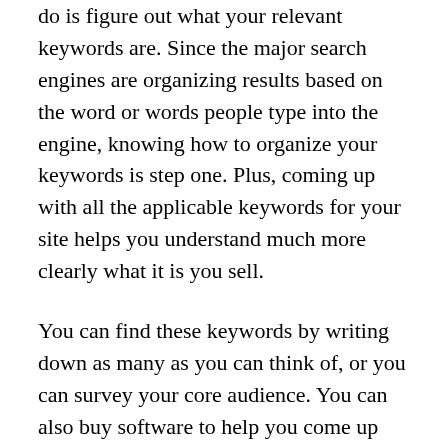do is figure out what your relevant keywords are. Since the major search engines are organizing results based on the word or words people type into the engine, knowing how to organize your keywords is step one. Plus, coming up with all the applicable keywords for your site helps you understand much more clearly what it is you sell.
You can find these keywords by writing down as many as you can think of, or you can survey your core audience. You can also buy software to help you come up with words. There are sites and software to help you find the value in the keywords you have come up with, such as Overture.com (now known as Yahoo Search Marketing) and WordTracker.com.
Statistics associated with your keywords will help you decide what words get more traffic than others.